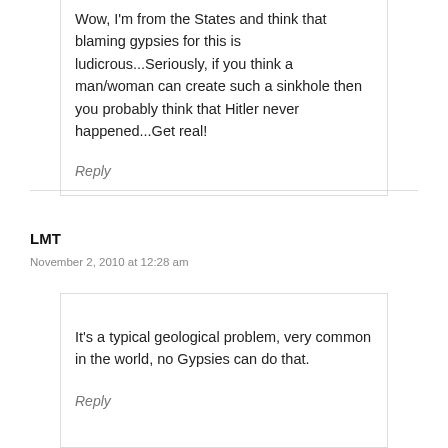Wow, I'm from the States and think that blaming gypsies for this is ludicrous...Seriously, if you think a man/woman can create such a sinkhole then you probably think that Hitler never happened...Get real!
Reply
LMT
November 2, 2010 at 12:28 am
It's a typical geological problem, very common in the world, no Gypsies can do that.
Reply